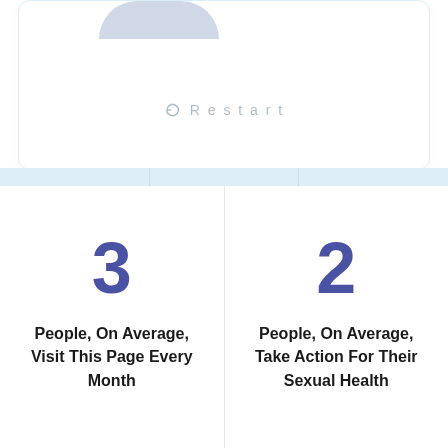[Figure (screenshot): Top portion of a white card UI with a partial avatar/profile image at top, and a Restart button with refresh icon in center]
Restart
3
People, On Average, Visit This Page Every Month
2
People, On Average, Take Action For Their Sexual Health